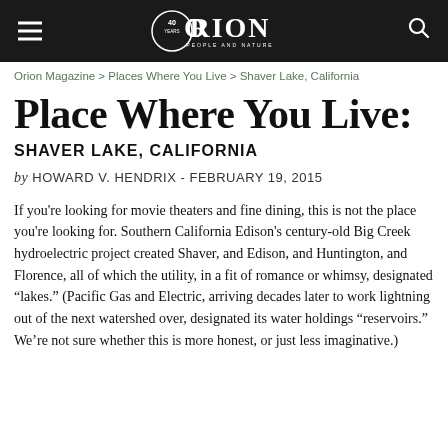ORION PEOPLE AND NATURE (40 years logo)
Orion Magazine > Places Where You Live > Shaver Lake, California
Place Where You Live:
SHAVER LAKE, CALIFORNIA
by HOWARD V. HENDRIX - FEBRUARY 19, 2015
If you're looking for movie theaters and fine dining, this is not the place you're looking for. Southern California Edison's century-old Big Creek hydroelectric project created Shaver, and Edison, and Huntington, and Florence, all of which the utility, in a fit of romance or whimsy, designated “lakes.” (Pacific Gas and Electric, arriving decades later to work lightning out of the next watershed over, designated its water holdings “reservoirs.” We’re not sure whether this is more honest, or just less imaginative.)